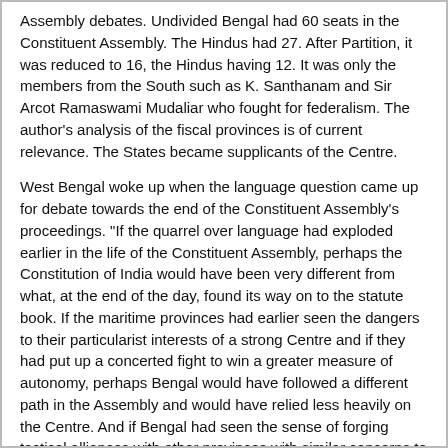Assembly debates. Undivided Bengal had 60 seats in the Constituent Assembly. The Hindus had 27. After Partition, it was reduced to 16, the Hindus having 12. It was only the members from the South such as K. Santhanam and Sir Arcot Ramaswami Mudaliar who fought for federalism. The author's analysis of the fiscal provinces is of current relevance. The States became supplicants of the Centre.
West Bengal woke up when the language question came up for debate towards the end of the Constituent Assembly's proceedings. "If the quarrel over language had exploded earlier in the life of the Constituent Assembly, perhaps the Constitution of India would have been very different from what, at the end of the day, found its way on to the statute book. If the maritime provinces had earlier seen the dangers to their particularist interests of a strong Centre and if they had put up a concerted fight to win a greater measure of autonomy, perhaps Bengal would have followed a different path in the Assembly and would have relied less heavily on the Centre. And if Bengal had seen the sense of forging tactical alliances with other provinces with similar concerns to its own, the constitutional outcome might have been significantly different."
Joya Chatterji adds: "Dr Ambedkar smuggled in a new article (Article 365, on President's Rule) which put yet sharper teeth into the President's emergency powers. West Bengal's representatives kept quiet about this sleight of hand, although men from other provinces angrily denounced it. Disregarding the high command's whip, H.N. Kunzru, Thakur